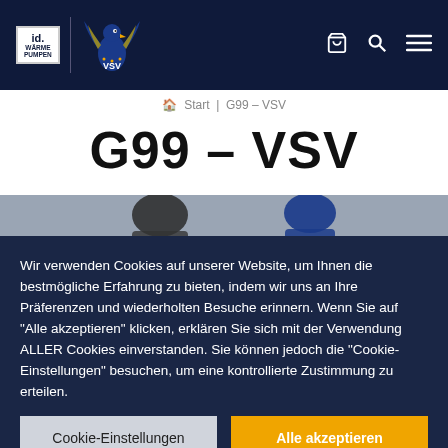VSV – iD Wärmepumpen navigation bar with logo, search, and menu icons
Start | G99 – VSV
G99 – VSV
[Figure (photo): Hockey players on ice rink, partial view]
Wir verwenden Cookies auf unserer Website, um Ihnen die bestmögliche Erfahrung zu bieten, indem wir uns an Ihre Präferenzen und wiederholten Besuche erinnern. Wenn Sie auf "Alle akzeptieren" klicken, erklären Sie sich mit der Verwendung ALLER Cookies einverstanden. Sie können jedoch die "Cookie-Einstellungen" besuchen, um eine kontrollierte Zustimmung zu erteilen.
Cookie-Einstellungen | Alle akzeptieren